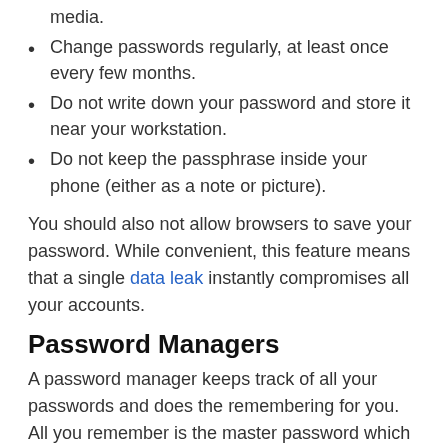media.
Change passwords regularly, at least once every few months.
Do not write down your password and store it near your workstation.
Do not keep the passphrase inside your phone (either as a note or picture).
You should also not allow browsers to save your password. While convenient, this feature means that a single data leak instantly compromises all your accounts.
Password Managers
A password manager keeps track of all your passwords and does the remembering for you. All you remember is the master password which grants access to the management program (which is, hopefully, a strong password protected with MFA).